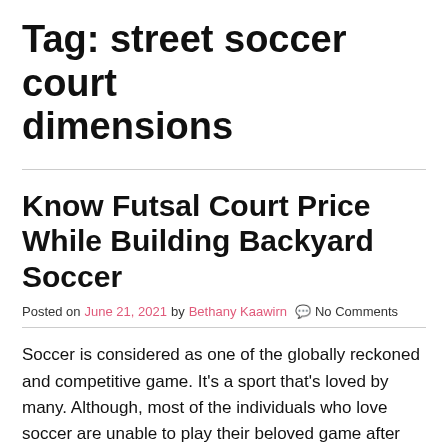Tag: street soccer court dimensions
Know Futsal Court Price While Building Backyard Soccer
Posted on June 21, 2021 by Bethany Kaawirn 💬 No Comments
Soccer is considered as one of the globally reckoned and competitive game. It's a sport that's loved by many. Although, most of the individuals who love soccer are unable to play their beloved game after knowing the futsal court price because checking out a field to